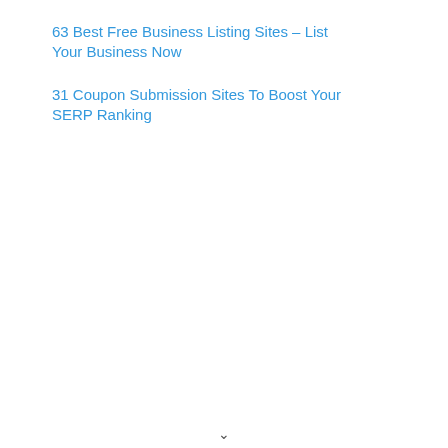63 Best Free Business Listing Sites – List Your Business Now
31 Coupon Submission Sites To Boost Your SERP Ranking